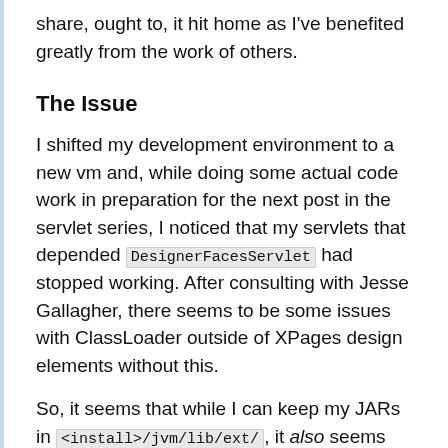share, ought to, it hit home as I've benefited greatly from the work of others.
The Issue
I shifted my development environment to a new vm and, while doing some actual code work in preparation for the next post in the servlet series, I noticed that my servlets that depended DesignerFacesServlet had stopped working. After consulting with Jesse Gallagher, there seems to be some issues with ClassLoader outside of XPages design elements without this.
So, it seems that while I can keep my JARs in <install>/jvm/lib/ext/, it also seems that I